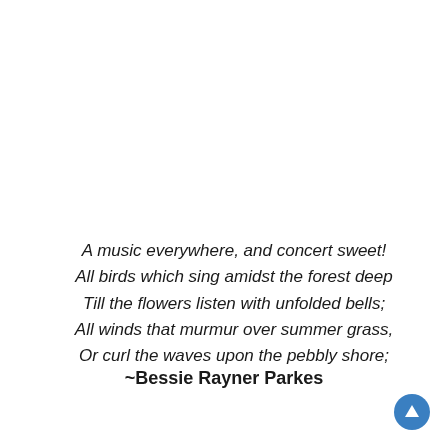A music everywhere, and concert sweet!
All birds which sing amidst the forest deep
Till the flowers listen with unfolded bells;
All winds that murmur over summer grass,
Or curl the waves upon the pebbly shore;
~Bessie Rayner Parkes